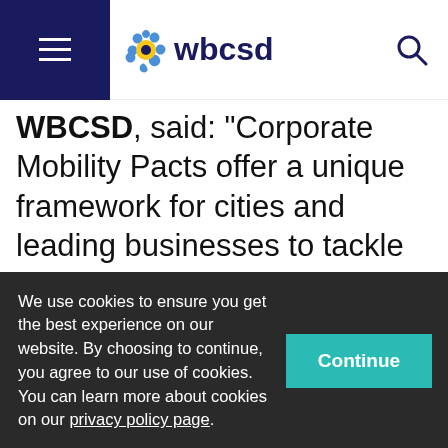WBCSD (logo and navigation)
WBCSD, said: "Corporate Mobility Pacts offer a unique framework for cities and leading businesses to tackle the three global sustainability challenges our world faces – the climate emergency, the loss of nature and mounting inequality. The Pact will...
We use cookies to ensure you get the best experience on our website. By choosing to continue, you agree to our use of cookies. You can learn more about cookies on our privacy policy page.